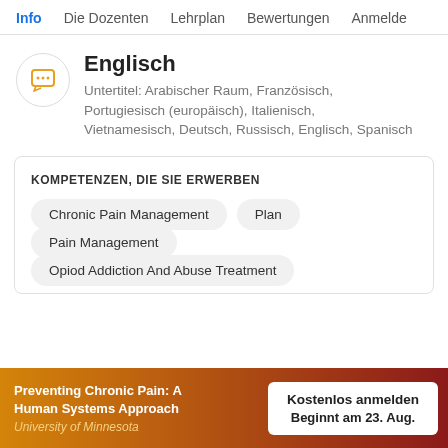Info  Die Dozenten  Lehrplan  Bewertungen  Anmelde
Englisch
Untertitel: Arabischer Raum, Französisch, Portugiesisch (europäisch), Italienisch, Vietnamesisch, Deutsch, Russisch, Englisch, Spanisch
KOMPETENZEN, DIE SIE ERWERBEN
Chronic Pain Management
Plan
Pain Management
Opiod Addiction And Abuse Treatment
Preventing Chronic Pain: A Human Systems Approach
University of Minnesota
Kostenlos anmelden
Beginnt am 23. Aug.